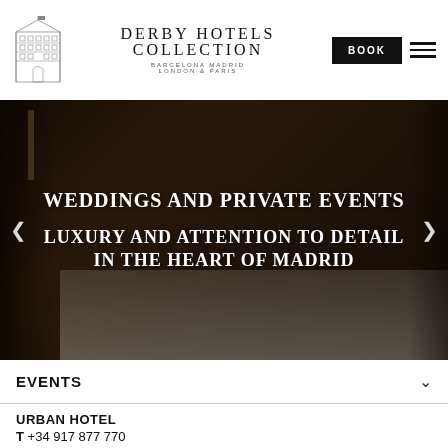[Figure (logo): Derby Hotels Collection building logo and brand name with 'BARCELONA MADRID LONDON & PARIS' subtitle]
[Figure (photo): Dark elegant banquet hall with long white tablecloth table, candelabras, and dark chairs — wedding/event venue in Madrid]
WEDDINGS AND PRIVATE EVENTS
LUXURY AND ATTENTION TO DETAIL IN THE HEART OF MADRID
EVENTS
URBAN HOTEL
T +34 917 877 770
E urban@derbyhotels.com